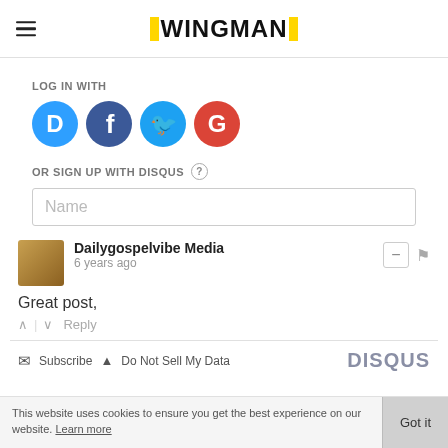WINGMAN
LOG IN WITH
[Figure (illustration): Four social login icons: Disqus (blue chat bubble with D), Facebook (blue circle with f), Twitter (light blue circle with bird), Google (red circle with G)]
OR SIGN UP WITH DISQUS (?)
Name
Dailygospelvibe Media
6 years ago
Great post,
^ | v  Reply
Subscribe  Do Not Sell My Data  DISQUS
This website uses cookies to ensure you get the best experience on our website. Learn more